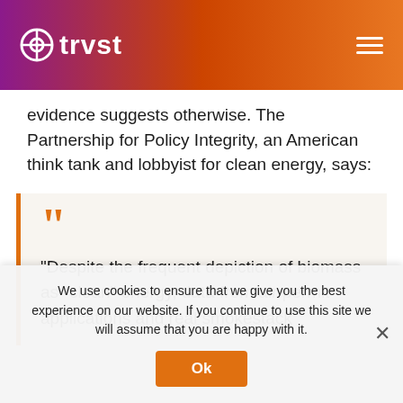trvst
evidence suggests otherwise. The Partnership for Policy Integrity, an American think tank and lobbyist for clean energy, says:
“Despite the frequent depiction of biomass as “clean” energy, data from air permit applications and real smokestack
We use cookies to ensure that we give you the best experience on our website. If you continue to use this site we will assume that you are happy with it.